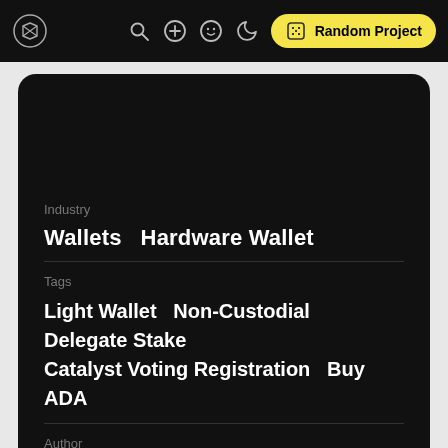Random Project
Industry
Wallets   Hardware Wallet
Tags
Light Wallet   Non-Custodial   Delegate Stake   Catalyst Voting Registration   Buy ADA
Author
builtoncardano
Viewpoints
Add Viewpoint
Links